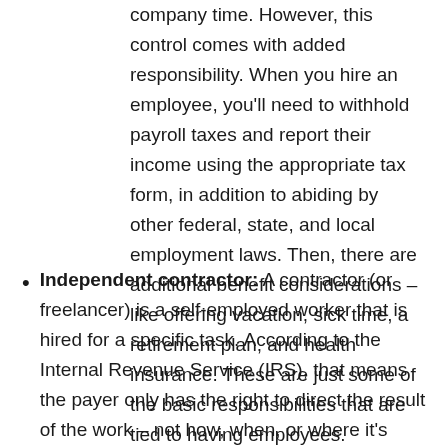company time. However, this control comes with added responsibility. When you hire an employee, you'll need to withhold payroll taxes and report their income using the appropriate tax form, in addition to abiding by other federal, state, and local employment laws. Then, there are additional benefit considerations – like offering vacation, sick time, a retirement plan, and health insurance. These are just some of the basic responsibilities that are tied to having employees.
Independent contractor: A contractor (or freelancer) is a self-employed worker that is hired for a specific task. According to the Internal Revenue Service (IRS), that means the payer only has the right to direct the result of the work – not how, when, or where it's accomplished.